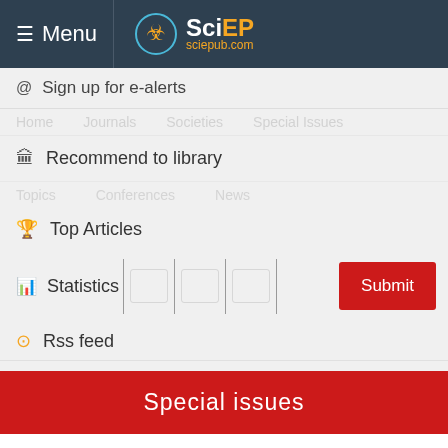Menu | SciEP sciepub.com
Sign up for e-alerts
Recommend to library
Top Articles
Statistics
Rss feed
Special issues
Published special issues
Antibiotic Resistance & Drug development
Articles 1